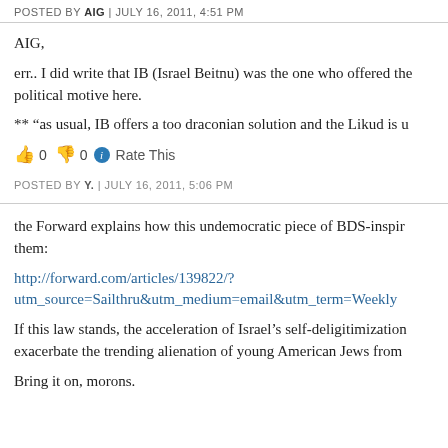POSTED BY AIG | JULY 16, 2011, 4:51 PM
AIG,
err.. I did write that IB (Israel Beitnu) was the one who offered the political motive here.
** “as usual, IB offers a too draconian solution and the Likud is u
👍 0 👎 0 ⓘ Rate This
POSTED BY Y. | JULY 16, 2011, 5:06 PM
the Forward explains how this undemocratic piece of BDS-inspir them:
http://forward.com/articles/139822/?utm_source=Sailthru&utm_medium=email&utm_term=Weekly
If this law stands, the acceleration of Israel’s self-deligitimization exacerbate the trending alienation of young American Jews from
Bring it on, morons.